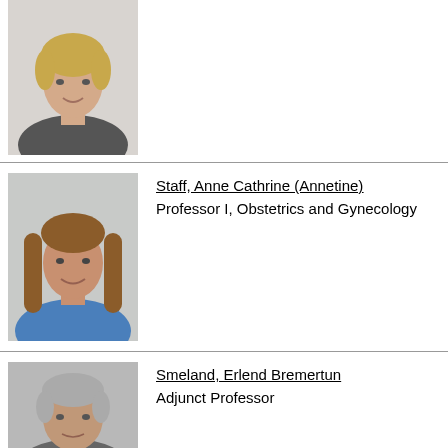[Figure (photo): Headshot of a blonde woman in a grey jacket, smiling, against a light background. Photo is partially cropped at top.]
[Figure (photo): Headshot of a woman with long brown hair wearing a blue top, smiling, against a light grey background.]
Staff, Anne Cathrine (Annetine)
Professor I, Obstetrics and Gynecology
[Figure (photo): Headshot of an older man with grey hair, against a grey background. Photo is partially cropped at bottom.]
Smeland, Erlend Bremertun
Adjunct Professor